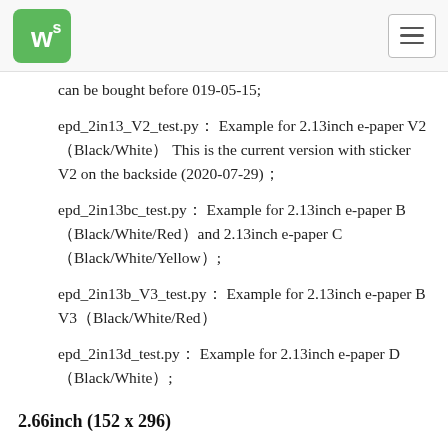Waveshare logo and navigation
can be bought before 019-05-15;
epd_2in13_V2_test.py： Example for 2.13inch e-paper V2（Black/White） This is the current version with sticker V2 on the backside (2020-07-29)；
epd_2in13bc_test.py： Example for 2.13inch e-paper B （Black/White/Red）and 2.13inch e-paper C （Black/White/Yellow）;
epd_2in13b_V3_test.py： Example for 2.13inch e-paper B V3（Black/White/Red）
epd_2in13d_test.py： Example for 2.13inch e-paper D （Black/White）;
2.66inch (152 x 296)
epd_2in66_test.py: Example for 2.66inch e-Paper